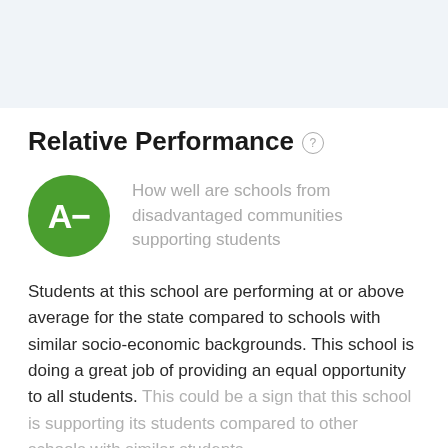Relative Performance
[Figure (illustration): Green circle with grade A- inside]
How well are schools from disadvantaged communities supporting students
Students at this school are performing at or above average for the state compared to schools with similar socio-economic backgrounds. This school is doing a great job of providing an equal opportunity to all students. This could be a sign that this school is supporting its students compared to other schools with similar students.